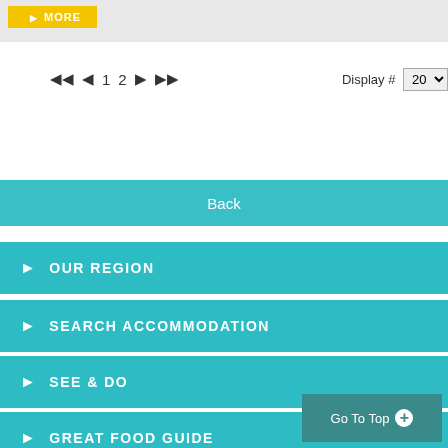[Figure (screenshot): Yellow MORE button on grey background]
◀◀  ◀  1  2  ▶  ▶▶   Display # 20
Back
> OUR REGION
> SEARCH ACCOMMODATION
> SEE & DO
> GREAT FOOD GUIDE
Go To Top +